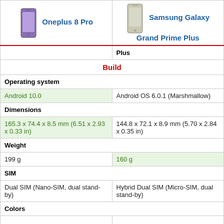| Oneplus 8 Pro | Samsung Galaxy Grand Prime Plus |
| --- | --- |
|  | Plus |
| Build | Build |
| Operating system | Operating system |
| Android 10.0 | Android OS 6.0.1 (Marshmallow) |
| Dimensions | Dimensions |
| 165.3 x 74.4 x 8.5 mm (6.51 x 2.93 x 0.33 in) | 144.8 x 72.1 x 8.9 mm (5.70 x 2.84 x 0.35 in) |
| Weight | Weight |
| 199 g | 160 g |
| SIM | SIM |
| Dual SIM (Nano-SIM, dual stand-by) | Hybrid Dual SIM (Micro-SIM, dual stand-by) |
| Colors | Colors |